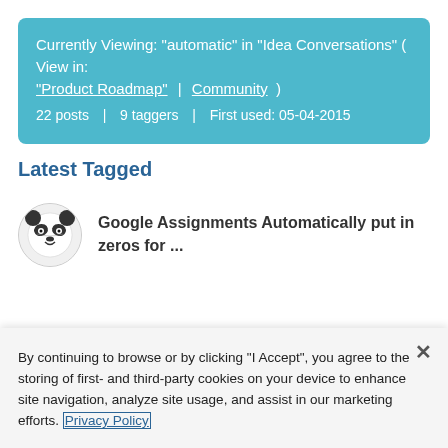Currently Viewing: "automatic" in "Idea Conversations" ( View in: "Product Roadmap" | Community ) 22 posts | 9 taggers | First used: 05-04-2015
Latest Tagged
Google Assignments Automatically put in zeros for ...
By continuing to browse or by clicking "I Accept", you agree to the storing of first- and third-party cookies on your device to enhance site navigation, analyze site usage, and assist in our marketing efforts. Privacy Policy